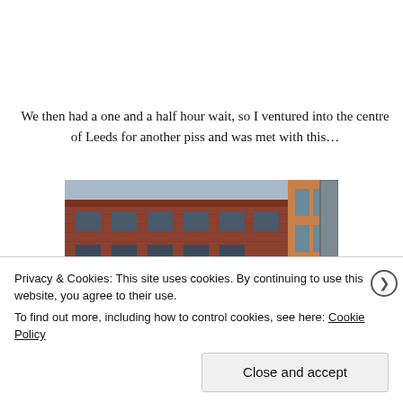We then had a one and a half hour wait, so I ventured into the centre of Leeds for another piss and was met with this…
[Figure (photo): Photograph of a red brick Victorian building facade in Leeds city centre, showing arched windows across multiple floors. A yellow object is visible on one of the window ledges. A modern building is partially visible on the right side.]
Privacy & Cookies: This site uses cookies. By continuing to use this website, you agree to their use.
To find out more, including how to control cookies, see here: Cookie Policy
Close and accept